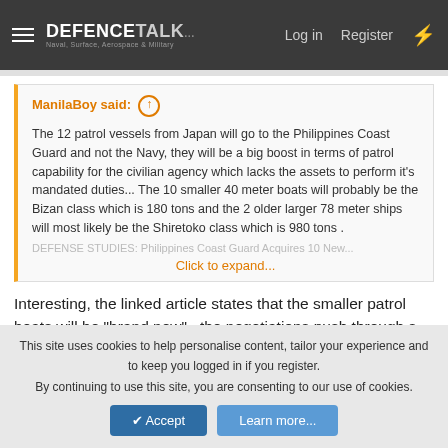DEFENCETALK — Log in  Register
ManilaBoy said: ↑
The 12 patrol vessels from Japan will go to the Philippines Coast Guard and not the Navy, they will be a big boost in terms of patrol capability for the civilian agency which lacks the assets to perform it's mandated duties... The 10 smaller 40 meter boats will probably be the Bizan class which is 180 tons and the 2 older larger 78 meter ships will most likely be the Shiretoko class which is 980 tons .
Click to expand...
Interesting, the linked article states that the smaller patrol boats will be "brand new".. the negotiations push through s they will indeed be a big boost in capability.
This site uses cookies to help personalise content, tailor your experience and to keep you logged in if you register.
By continuing to use this site, you are consenting to our use of cookies.